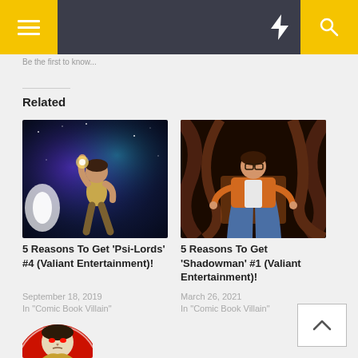Be the first to know...
Related
[Figure (photo): Comic book cover art for Psi-Lords #4 showing a figure leaping against a cosmic nebula background]
5 Reasons To Get 'Psi-Lords' #4 (Valiant Entertainment)!
September 18, 2019
In "Comic Book Villain"
[Figure (photo): Comic book cover art for Shadowman #1 showing a figure seated on a throne surrounded by tentacles]
5 Reasons To Get 'Shadowman' #1 (Valiant Entertainment)!
March 26, 2021
In "Comic Book Villain"
[Figure (photo): Comic book cover art showing a man with red eyes against a red circular target background]